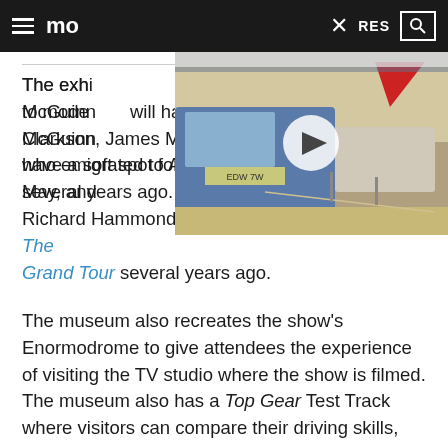≡ mo... × RES 🔍
[Figure (photo): Video thumbnail showing vintage cars including a blue van with registration EDW 7W and a white car in a tent/marquee setting with a red sailboat visible. A circular play button overlay is shown.]
The exhi... run, up to mode... Paddy McGuinn... will have a soft spot for Jeremy Clarkson, James May, and Richard Hammond, who emigrated to Amazon's The Grand Tour several years ago.
The museum also recreates the show's Enormodrome to give attendees the experience of visiting the TV studio where the show is filmed. The museum also has a Top Gear Test Track where visitors can compare their driving skills, but you won't need a helmet. These are scaled-down models of Top Gear challenge cars that are remote-controlled.